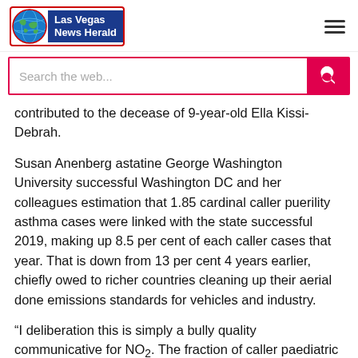Las Vegas News Herald
contributed to the decease of 9-year-old Ella Kissi-Debrah.
Susan Anenberg astatine George Washington University successful Washington DC and her colleagues estimation that 1.85 cardinal caller puerility asthma cases were linked with the state successful 2019, making up 8.5 per cent of each caller cases that year. That is down from 13 per cent 4 years earlier, chiefly owed to richer countries cleaning up their aerial done emissions standards for vehicles and industry.
“I deliberation this is simply a bully quality communicative for NO₂. The fraction of caller paediatric asthma cases that are attributable to NO₂ has dropped,” says Anenberg